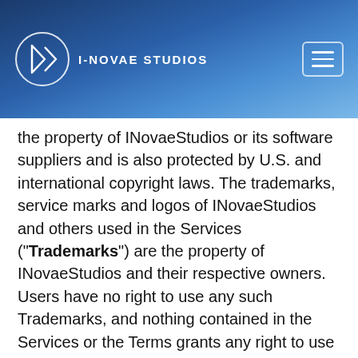I-NOVAE STUDIOS
the property of INovaeStudios or its software suppliers and is also protected by U.S. and international copyright laws. The trademarks, service marks and logos of INovaeStudios and others used in the Services (“Trademarks”) are the property of INovaeStudios and their respective owners. Users have no right to use any such Trademarks, and nothing contained in the Services or the Terms grants any right to use any Trademarks without the prior written consent of INovaeStudios or their respective owner. Materials that are viewed, printed and/or downloaded from the Services are to be used only for personal use and may not be used for any commercial purposes. No materials may be copied, reproduced, modified, republished, uploaded, posted, distributed or transmitted, without prior written consent from INovaeStudios. The use of such materials is strictly prohibited as such unauthorized use